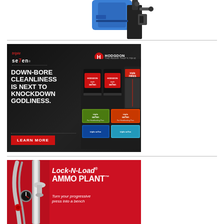[Figure (photo): Partial view of a blue and black reloading press or similar equipment, cropped at top of page]
[Figure (photo): Triple Seven / Hodgdon advertisement with dark background showing powder products and text: DOWN-BORE CLEANLINESS IS NEXT TO KNOCKDOWN GODLINESS. LEARN MORE button. Logos for triple se7en and HODGDON THE BRAND THAT'S TRUE.]
[Figure (photo): Hornady Lock-N-Load AMMO PLANT advertisement on red background. Text: Lock-N-Load® AMMO PLANT™ Turn your progressive press into a bench. Shows chrome reloading equipment on left side.]